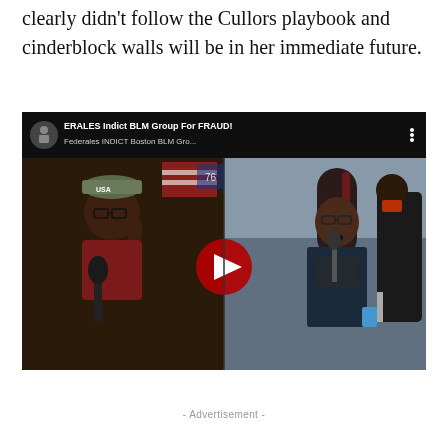clearly didn't follow the Cullors playbook and cinderblock walls will be in her immediate future.
[Figure (screenshot): YouTube video thumbnail showing two people: on the left, a man in a USA camouflage cap and glasses at a podcast microphone; on the right, a woman with braids speaking at a microphone outdoors. The video title reads 'ERALES Indict BLM Group For FRAUD!' and subtitle 'Federales INDICT Boston BLM Gro...' with a red YouTube play button overlay.]
- Advertisement -